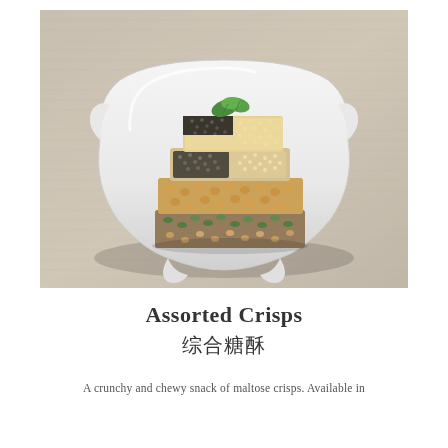[Figure (photo): A photograph of assorted maltose crisps stacked on a white decorative plate. The crisps include varieties with black sesame, white sesame, peanut, and mixed seeds/grains, garnished with a small mint leaf on top. The plate sits on a light grey linen fabric background.]
Assorted Crisps
综合糖酥
A crunchy and chewy snack of maltose crisps. Available in